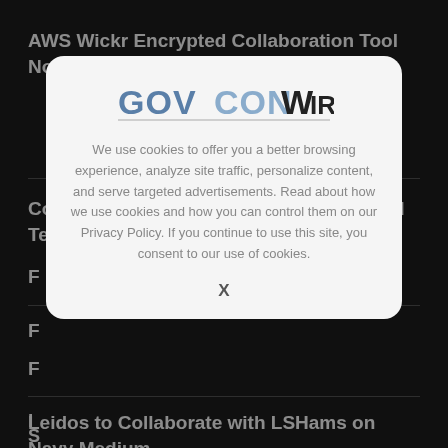AWS Wickr Encrypted Collaboration Tool Now Available on DOD Cloud One
Collins Aerospace's Reconnaissance Pod Tested on F...
[Figure (logo): GovConWire logo — 'GOVCON' in blue/grey block letters, 'WIRE' in black with a stylized W]
We use cookies to offer you a better browsing experience, analyze site traffic, personalize content, and serve targeted advertisements. Read about how we use cookies and how you can control them on our Privacy Policy. If you continue to use this site, you consent to our use of cookies.
X
Leidos to Collaborate with LSHams on Navy Medium...